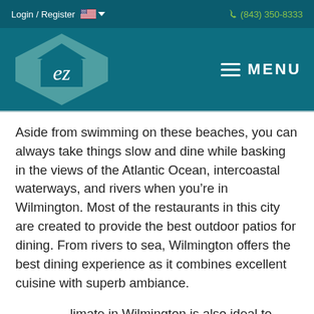Login / Register   🇺🇸 ∨        (843) 350-8333
[Figure (logo): EZ home logo in teal hexagon shape with 'ez' text, alongside hamburger menu icon and MENU text]
Aside from swimming on these beaches, you can always take things slow and dine while basking in the views of the Atlantic Ocean, intercoastal waterways, and rivers when you're in Wilmington. Most of the restaurants in this city are created to provide the best outdoor patios for dining. From rivers to sea, Wilmington offers the best dining experience as it combines excellent cuisine with superb ambiance.
The climate in Wilmington is also ideal to learn and master how to play golf. It rarely rains in the city, which